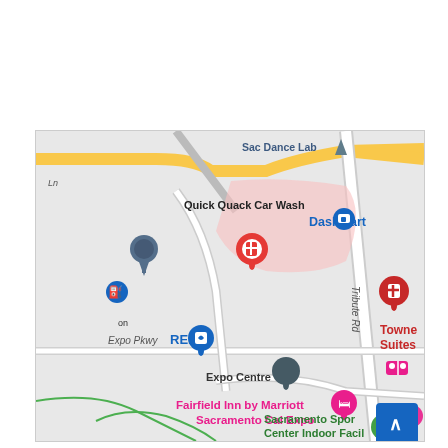[Figure (map): Google Maps screenshot showing Sacramento area near Cal Expo. Visible locations include Quick Quack Car Wash, DashMart, Sac Dance Lab, REI, Expo Centre, Fairfield Inn by Marriott Sacramento Cal Expo, Towne Suites, Sacramento Sports Center Indoor Facility. Roads include Expo Pkwy and Tribute Rd. A blue scroll-to-top button is in the bottom right corner.]